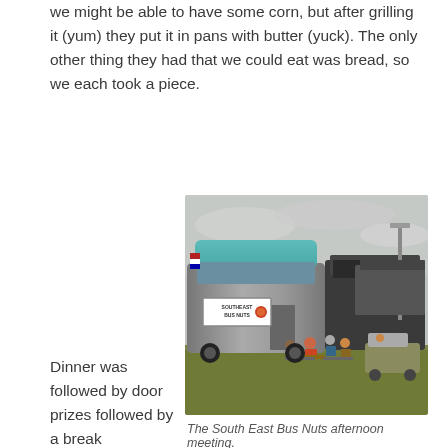we might be able to have some corn, but after grilling it (yum) they put it in pans with butter (yuck). The only other thing they had that we could eat was bread, so we each took a piece.
[Figure (photo): The South East Bus Nuts afternoon meeting. A large silver bus with 'Southeast Bus Nuts' banner visible in foreground, people seated in chairs on grass to the right, another dark vehicle in background, overcast sky.]
The South East Bus Nuts afternoon meeting.
Dinner was followed by door prizes followed by a break